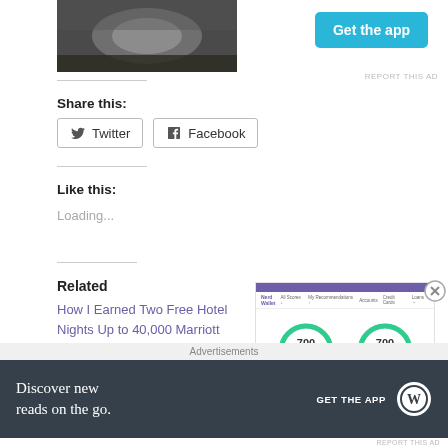[Figure (photo): Partial photo of what appears to be a circular/bowl object on a surface, cropped at top]
Share this:
Twitter | Facebook (share buttons)
Like this:
Loading...
Related
How I Earned Two Free Hotel Nights Up to 40,000 Marriott Bonvoy Points In One Week
[Figure (screenshot): Credit score comparison screenshot showing two gauges both reading 700]
Advertisements
[Figure (infographic): WordPress app advertisement banner with dark background reading 'Discover new reads on the go.' with GET THE APP button and WordPress logo]
REPORT THIS AD